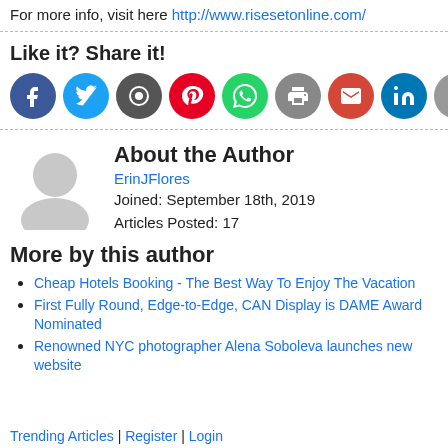For more info, visit here http://www.risesetonline.com/
Like it? Share it!
[Figure (infographic): Social media share buttons: Facebook (blue), Twitter (blue), some icon (dark gray), Pinterest (red), WhatsApp (green), print (gray), Gmail (red), LinkedIn (teal), Google (gray), plus (orange-red)]
About the Author
[Figure (illustration): Default gray user avatar silhouette]
ErinJFlores
Joined: September 18th, 2019
Articles Posted: 17
More by this author
Cheap Hotels Booking - The Best Way To Enjoy The Vacation
First Fully Round, Edge-to-Edge, CAN Display is DAME Award Nominated
Renowned NYC photographer Alena Soboleva launches new website
Trending Articles | Register | Login